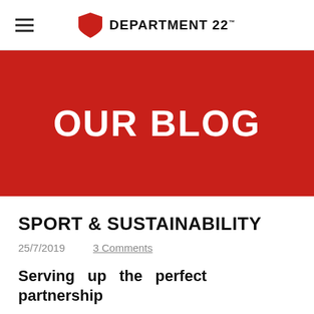DEPARTMENT 22™
OUR BLOG
SPORT & SUSTAINABILITY
25/7/2019    3 Comments
Serving up the perfect partnership